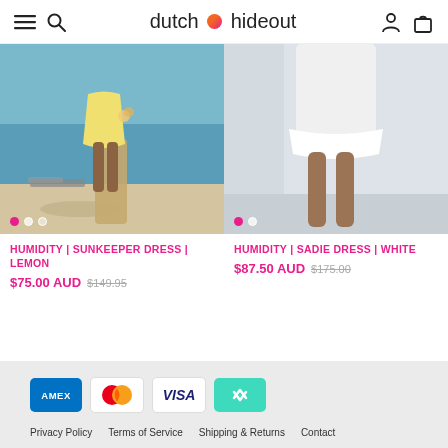dutch hideout
[Figure (photo): Woman in yellow dress standing on a beach near water and a sun lounger]
[Figure (photo): Woman in white short dress, lower body visible against light background]
HUMIDITY | SUNKEEPER DRESS | LEMON
$75.00 AUD $149.95
HUMIDITY | SADIE DRESS | WHITE
$87.50 AUD $175.00
[Figure (logo): Payment icons: American Express, Mastercard, Visa, Afterpay]
Privacy Policy   Terms of Service   Shipping & Returns   Contact